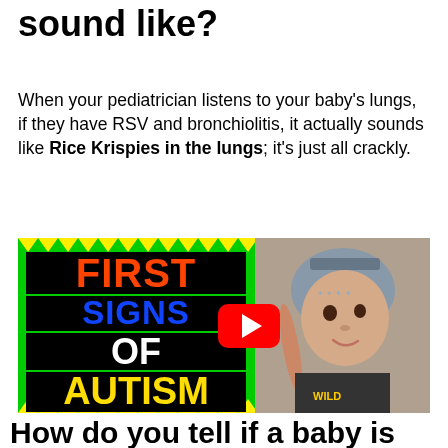sound like?
When your pediatrician listens to your baby's lungs, if they have RSV and bronchiolitis, it actually sounds like Rice Krispies in the lungs; it's just all crackly.
[Figure (screenshot): YouTube video thumbnail for 'First Signs of Autism 6-9 Months' by KidzLabTv, showing a baby in a hat with text on green background and YouTube play button]
How do you tell if a baby is